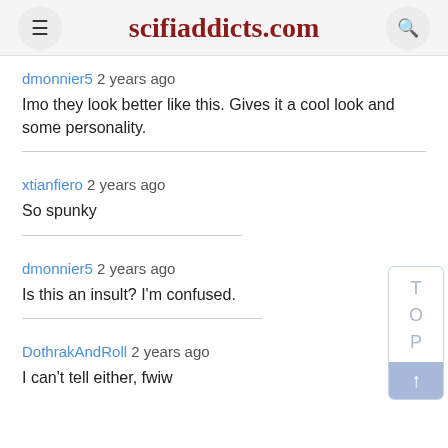scifiaddicts.com
dmonnier5 2 years ago
Imo they look better like this. Gives it a cool look and some personality.
xtianfiero 2 years ago
So spunky
dmonnier5 2 years ago
Is this an insult? I'm confused.
DothrakAndRoll 2 years ago
I can't tell either, fwiw